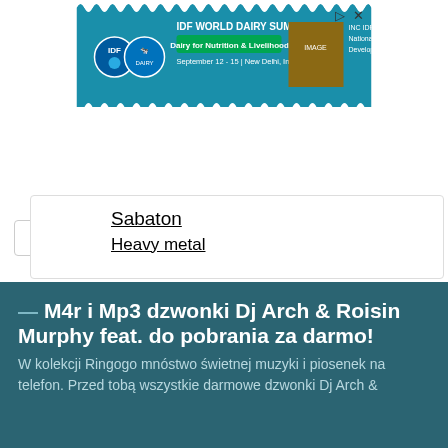[Figure (illustration): IDF World Dairy Summit 2022 advertisement banner styled as a stamp, featuring logos and text: IDF WORLD DAIRY SUMMIT 2022, Dairy for Nutrition & Livelihood, September 12-15, New Delhi, India, and INC IDF Secretariat National Dairy Development Board]
Sabaton
Heavy metal
— M4r i Mp3 dzwonki Dj Arch & Roisin Murphy feat. do pobrania za darmo!
W kolekcji Ringogo mnóstwo świetnej muzyki i piosenek na telefon. Przed tobą wszystkie darmowe dzwonki Dj Arch &